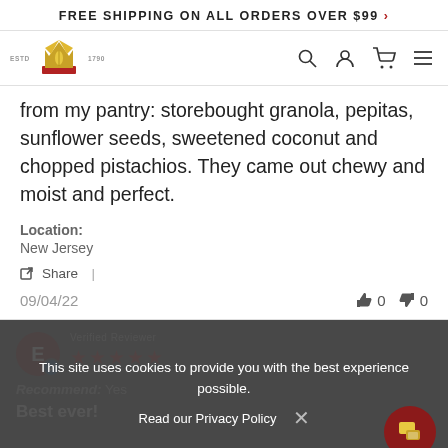FREE SHIPPING ON ALL ORDERS OVER $99 >
[Figure (logo): Crown/wheat logo with ESTD 1790 text and navigation icons (search, user, cart, menu)]
from my pantry: storebought granola, pepitas, sunflower seeds, sweetened coconut and chopped pistachios. They came out chewy and moist and perfect.
Location:
New Jersey
Share |
09/04/22    👍 0  👎 0
[Figure (infographic): Dark footer area with reviewer avatar E, 5-star rating, Verified Reviewer label, cookie consent overlay, Recommend: Yes, Best ever! text, and chat bubble button]